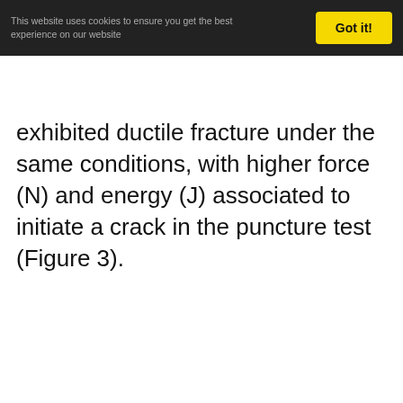This website uses cookies to ensure you get the best experience on our website
exhibited ductile fracture under the same conditions, with higher force (N) and energy (J) associated to initiate a crack in the puncture test (Figure 3).